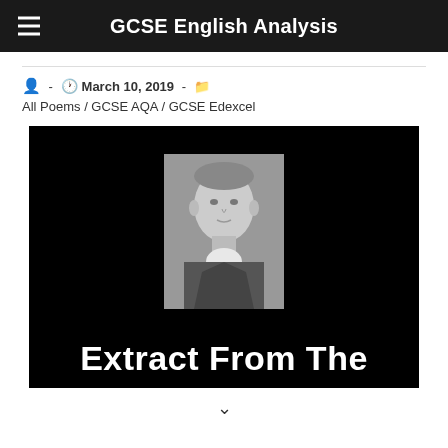GCSE English Analysis
– March 10, 2019 – All Poems / GCSE AQA / GCSE Edexcel
[Figure (photo): Black background image showing a black-and-white portrait of a man in 19th century attire, with bold white text at the bottom reading 'Extract From The']